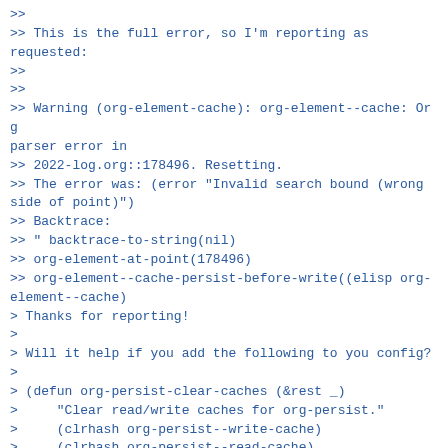>>
>> This is the full error, so I'm reporting as requested:
>>
>>
>> Warning (org-element-cache): org-element--cache: Org parser error in
>> 2022-log.org::178496. Resetting.
>> The error was: (error "Invalid search bound (wrong side of point)")
>> Backtrace:
>> " backtrace-to-string(nil)
>> org-element-at-point(178496)
>> org-element--cache-persist-before-write((elisp org-element--cache)
> Thanks for reporting!
>
> Will it help if you add the following to you config?
>
> (defun org-persist-clear-caches (&rest _)
>     "Clear read/write caches for org-persist."
>     (clrhash org-persist--write-cache)
>     (clrhash org-persist--read-cache)
>     nil)
>
> (add-hook 'org-persist-before-read-hook #'org-persist-clear-caches)
> (add-hook 'org-persist-before-write-hook #'org-persist-clear-caches)
>